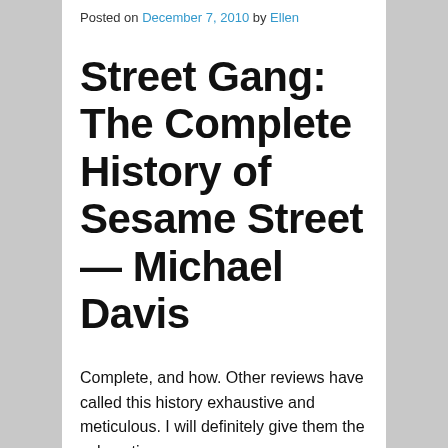Posted on December 7, 2010 by Ellen
Street Gang: The Complete History of Sesame Street — Michael Davis
Complete, and how. Other reviews have called this history exhaustive and meticulous. I will definitely give them the exhaustive.
This was honestly really interesting, not the least of which for also rather providing a history of